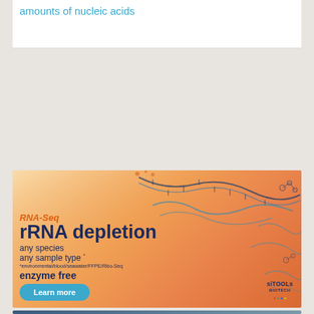amounts of nucleic acids
Learn more
[Figure (illustration): RNA-Seq rRNA depletion advertisement with orange gradient background and DNA helix illustrations. Text reads: RNA-Seq, rRNA depletion, any species, any sample type*, *environmental/blood/seawater/FFPE/Ribo-Seq, enzyme free. Includes Learn more button and siTOOLs Biotech logo.]
[Figure (photo): New England BioLabs advertisement with microscopy cell image background, showing NEB logo and BioLabs text in italic serif font.]